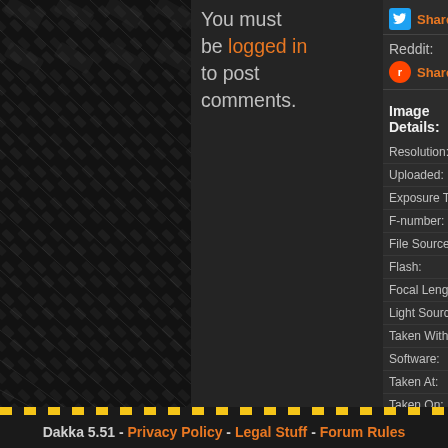[Figure (screenshot): Diamond plate textured dark background on the left portion of the page]
You must be logged in to post comments.
Reddit:
Share on Reddit
Image Details:
| Field | Value |
| --- | --- |
| Resolution: | 2... |
| Uploaded: | 2... |
| Exposure Time: | 0... |
| F-number: | f... |
| File Source: | D... |
| Flash: | F... |
| Focal Length: | 3... |
| Light Source: | U... |
| Taken With: | L... |
| Software: |  |
| Taken At: | 2... |
| Taken On: | 2... |
Dakka 5.51 - Privacy Policy - Legal Stuff - Forum Rules